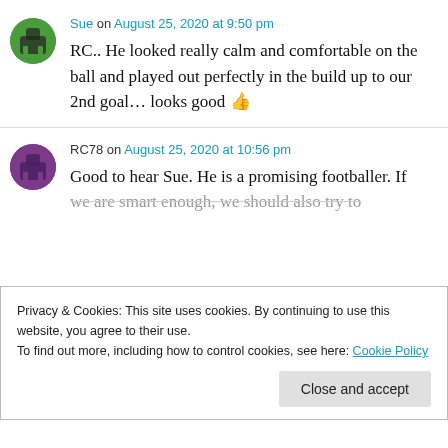Sue on August 25, 2020 at 9:50 pm
RC.. He looked really calm and comfortable on the ball and played out perfectly in the build up to our 2nd goal… looks good 👍
RC78 on August 25, 2020 at 10:56 pm
Good to hear Sue. He is a promising footballer. If we are smart enough, we should also try to
Privacy & Cookies: This site uses cookies. By continuing to use this website, you agree to their use.
To find out more, including how to control cookies, see here: Cookie Policy
Close and accept